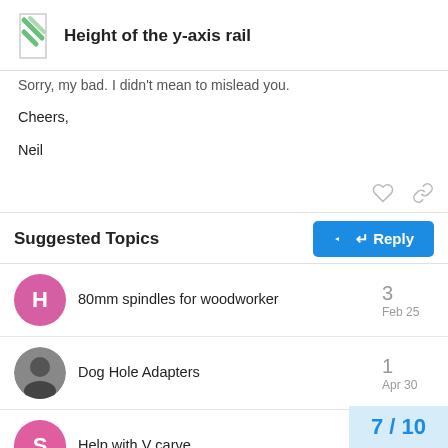Height of the y-axis rail
Sorry, my bad. I didn't mean to mislead you.
Cheers,
Neil
Suggested Topics
80mm spindles for woodworker  3  Feb 25
Dog Hole Adapters  1  Apr 30
Help with V carve
7 / 10